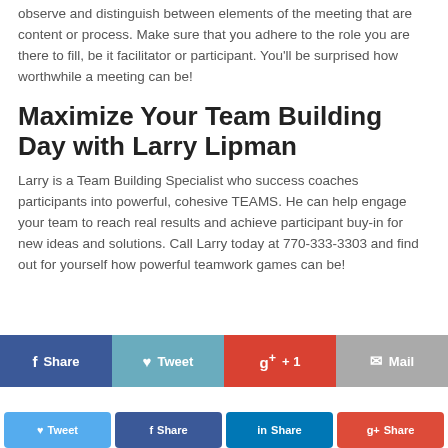observe and distinguish between elements of the meeting that are content or process. Make sure that you adhere to the role you are there to fill, be it facilitator or participant. You'll be surprised how worthwhile a meeting can be!
Maximize Your Team Building Day with Larry Lipman
Larry is a Team Building Specialist who success coaches participants into powerful, cohesive TEAMS. He can help engage your team to reach real results and achieve participant buy-in for new ideas and solutions. Call Larry today at 770-333-3303 and find out for yourself how powerful teamwork games can be!
[Figure (infographic): Social sharing bar with four buttons: Share (Facebook, dark blue), Tweet (Twitter, light blue), g+ +1 (Google+, red), Mail (grey)]
[Figure (infographic): Secondary social sharing row with four small buttons: Tweet, Share, Share (LinkedIn), Share (Google+)]